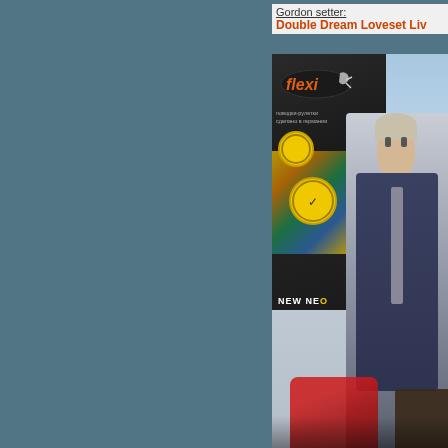Gordon setter: Double Dream Loveset Liv...
[Figure (photo): A man in a dark blue blazer and grey tie standing in front of a flexi brand banner (with Cyrillic text поводки-рулетки, сделано в германии), with yellow circular design elements. Red flowers visible at the bottom. A dark dog partially visible at lower right.]